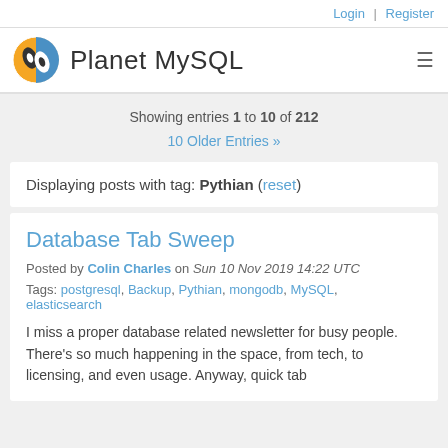Login | Register
Planet MySQL
Showing entries 1 to 10 of 212
10 Older Entries »
Displaying posts with tag: Pythian (reset)
Database Tab Sweep
Posted by Colin Charles on Sun 10 Nov 2019 14:22 UTC
Tags: postgresql, Backup, Pythian, mongodb, MySQL, elasticsearch
I miss a proper database related newsletter for busy people. There's so much happening in the space, from tech, to licensing, and even usage. Anyway, quick tab